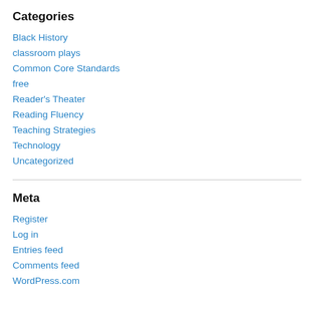Categories
Black History
classroom plays
Common Core Standards
free
Reader's Theater
Reading Fluency
Teaching Strategies
Technology
Uncategorized
Meta
Register
Log in
Entries feed
Comments feed
WordPress.com